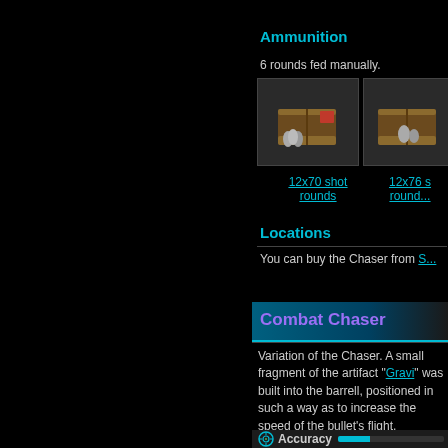Ammunition
6 rounds fed manually.
[Figure (photo): Two ammunition box items: '12x70 shot rounds' and '12x76 slug rounds' game inventory images]
12x70 shot rounds
12x76 slug rounds
Locations
You can buy the Chaser from S...
Combat Chaser
Variation of the Chaser. A small fragment of the artifact "Gravi" was built into the barrell, positioned in such a way as to increase the speed of the bullet's flight.
Accuracy